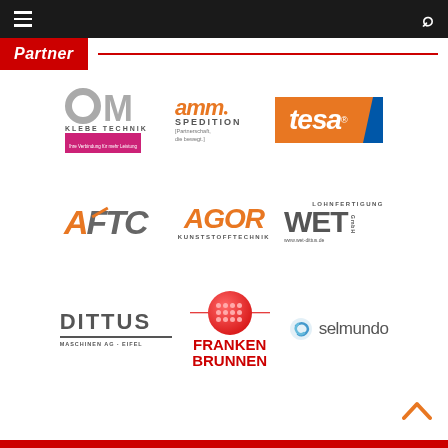≡  Partner  🔍
Partner
[Figure (logo): OM Klebe Technik logo - grey circular O and M letters, with red tagline 'Ihre Verbindung für mehr Leistung']
[Figure (logo): amm SPEDITION logo - orange italic amm text with dot, subtitle Partnerschaft die bewegt.]
[Figure (logo): tesa logo - white italic text on orange background with blue diagonal stripe]
[Figure (logo): AFTC logo - grey and orange italic bold letters]
[Figure (logo): AGOR KUNSTSTOFFTECHNIK logo - orange italic bold text]
[Figure (logo): WET LOHNFERTIGUNG GmbH logo - grey bold letters, www.wet-dittus.de]
[Figure (logo): DITTUS MASCHINEN AG - EIFEL logo - grey bold text with horizontal line]
[Figure (logo): FRANKEN BRUNNEN logo - red circle with dot grid, red text]
[Figure (logo): selmundo logo - blue swirl icon with grey text]